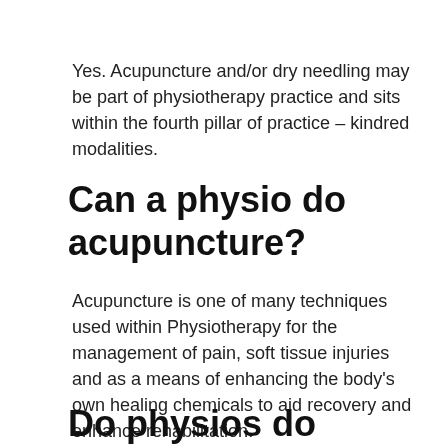Yes. Acupuncture and/or dry needling may be part of physiotherapy practice and sits within the fourth pillar of practice – kindred modalities.
Can a physio do acupuncture?
Acupuncture is one of many techniques used within Physiotherapy for the management of pain, soft tissue injuries and as a means of enhancing the body's own healing chemicals to aid recovery and enhance rehabilitation.
Do physios do needling?